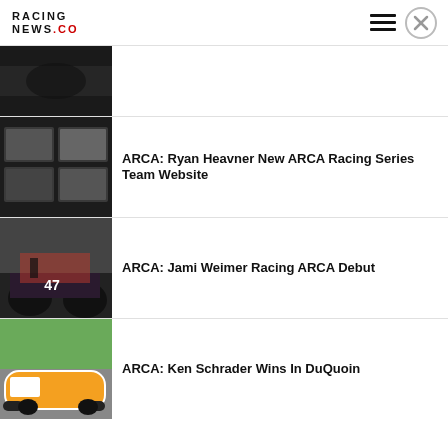RACING NEWS.CO
[Figure (photo): Partial view of a dark racing scene thumbnail]
[Figure (photo): Screenshot of ARCA Racing Series team website with multiple car images in a grid layout]
ARCA: Ryan Heavner New ARCA Racing Series Team Website
[Figure (photo): Person standing next to a dark racing car with number 47 at a pit or garage area]
ARCA: Jami Weimer Racing ARCA Debut
[Figure (photo): Racing car in orange/yellow and white colors with red cone visible, likely at a track]
ARCA: Ken Schrader Wins In DuQuoin